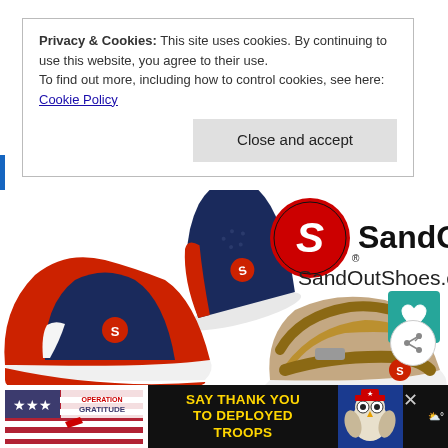Privacy & Cookies: This site uses cookies. By continuing to use this website, you agree to their use.
To find out more, including how to control cookies, see here: Cookie Policy
Close and accept
[Figure (photo): SandOut Shoes logo with red circular S logo and text 'SandOut' and 'SandOutShoes.com', alongside children's shoes: navy/red slip-ons and tan leather sandals]
Kickstarter Alert: SandOut Shoes
[Figure (infographic): Operation Gratitude advertisement banner: 'SAY THANK YOU TO DEPLOYED TROOPS' with patriotic imagery and owl mascot]